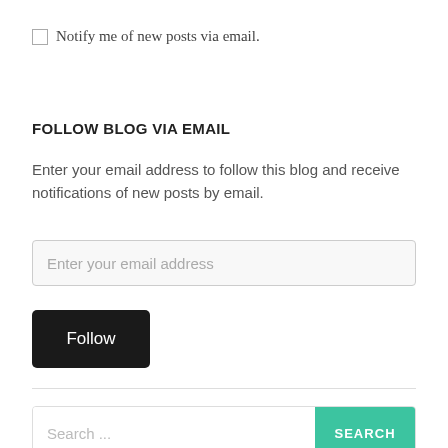Notify me of new posts via email.
FOLLOW BLOG VIA EMAIL
Enter your email address to follow this blog and receive notifications of new posts by email.
Enter your email address
Follow
Search ...
SEARCH